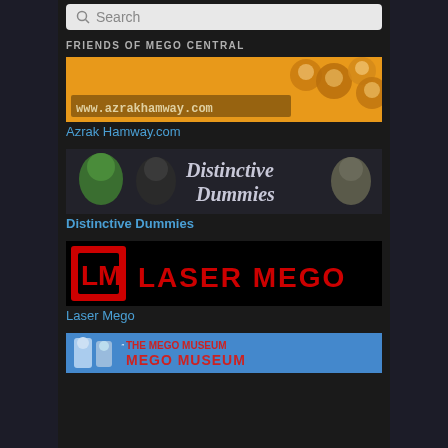Search
FRIENDS OF MEGO CENTRAL
[Figure (illustration): Azrak Hamway banner with orange background, circular portrait images of faces, and text www.azrakhamway.com]
Azrak Hamway.com
[Figure (illustration): Distinctive Dummies banner with dark background showing action figure faces and the text Distinctive Dummies]
Distinctive Dummies
[Figure (illustration): Laser Mego banner with black background, red LM logo on left, and red text LASER MEGO]
Laser Mego
[Figure (illustration): The Mego Museum banner partially visible at bottom with blue background and red/white text]